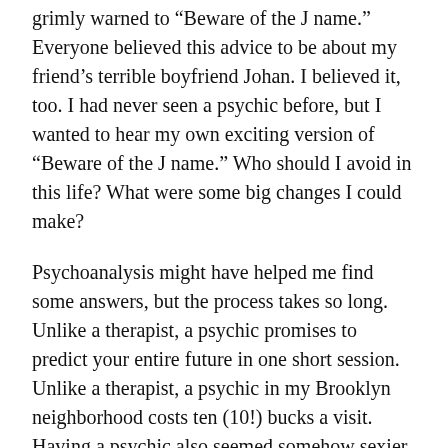grimly warned to “Beware of the J name.” Everyone believed this advice to be about my friend’s terrible boyfriend Johan. I believed it, too. I had never seen a psychic before, but I wanted to hear my own exciting version of “Beware of the J name.” Who should I avoid in this life? What were some big changes I could make?
Psychoanalysis might have helped me find some answers, but the process takes so long. Unlike a therapist, a psychic promises to predict your entire future in one short session. Unlike a therapist, a psychic in my Brooklyn neighborhood costs ten (10!) bucks a visit. Having a psychic also seemed somehow sexier than having a therapist. Even just the word — psychic! — felt charged, and alluring.
Miss Patricia in person was not what I’d pictured. I imagined she would be a heavyset lady in a long